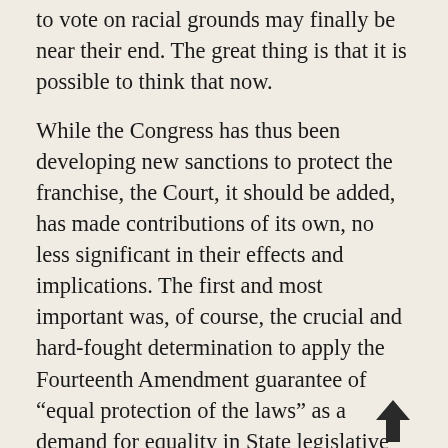to vote on racial grounds may finally be near their end. The great thing is that it is possible to think that now.
While the Congress has thus been developing new sanctions to protect the franchise, the Court, it should be added, has made contributions of its own, no less significant in their effects and implications. The first and most important was, of course, the crucial and hard-fought determination to apply the Fourteenth Amendment guarantee of “equal protection of the laws” as a demand for equality in State legislative apportionment. What is required, Chief Justice Warren wrote five years ago, is “no less than substantially equal state legislative representation for all citizens, of all places as well as all races,” that is, numerically equal districts insofar as they are practically attainable. So also, it was held in the same year, does the Constitution prescribe with respect to Congressional districts, so long at least as Representatives